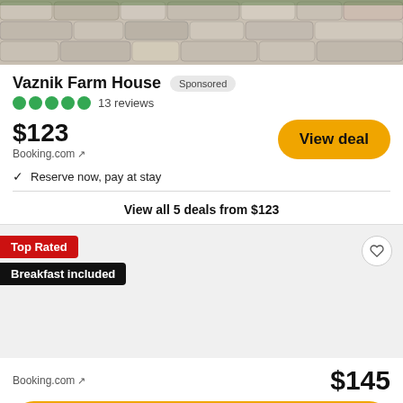[Figure (photo): Stone wall background image at the top of the listing card]
Vaznik Farm House
Sponsored
13 reviews
$123
Booking.com ↗
View deal
✓ Reserve now, pay at stay
View all 5 deals from $123
Top Rated
Breakfast included
Booking.com ↗
$145
View deal